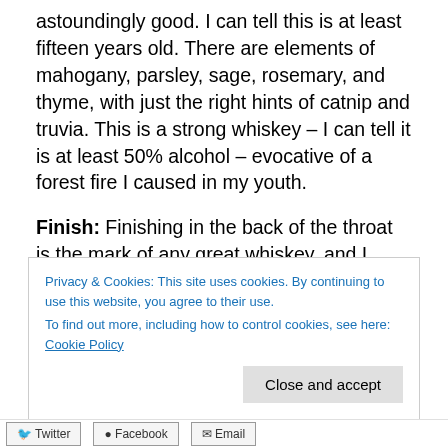astoundingly good. I can tell this is at least fifteen years old. There are elements of mahogany, parsley, sage, rosemary, and thyme, with just the right hints of catnip and truvia. This is a strong whiskey – I can tell it is at least 50% alcohol – evocative of a forest fire I caused in my youth.
Finish: Finishing in the back of the throat is the mark of any great whiskey, and I gratefully succumb. I can still taste it lingering for what seems like an eternity; gently whispering at me to drink it all down.
“Water of Life,” indeed.
Privacy & Cookies: This site uses cookies. By continuing to use this website, you agree to their use.
To find out more, including how to control cookies, see here: Cookie Policy